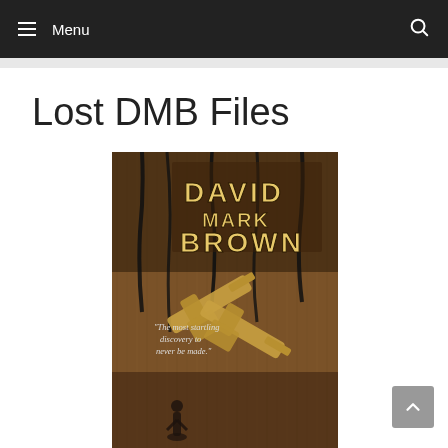≡ Menu   🔍
Lost DMB Files
[Figure (illustration): Book cover for 'Lost DMB Files' by David Mark Brown. Dark western-themed cover with wood texture background, dripping black streaks, two crossed golden revolvers, the author name 'DAVID MARK BROWN' in large stylized yellow letters at the top, and a quote reading 'The most startling discovery to never be made.' near the middle-left.]